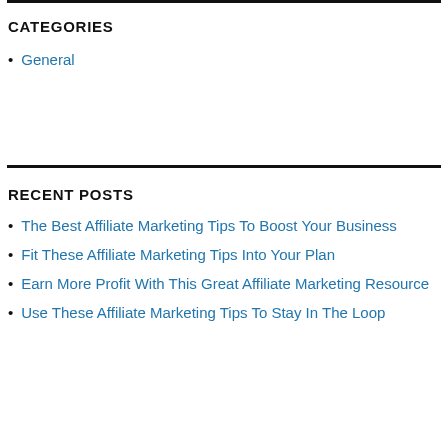CATEGORIES
General
RECENT POSTS
The Best Affiliate Marketing Tips To Boost Your Business
Fit These Affiliate Marketing Tips Into Your Plan
Earn More Profit With This Great Affiliate Marketing Resource
Use These Affiliate Marketing Tips To Stay In The Loop